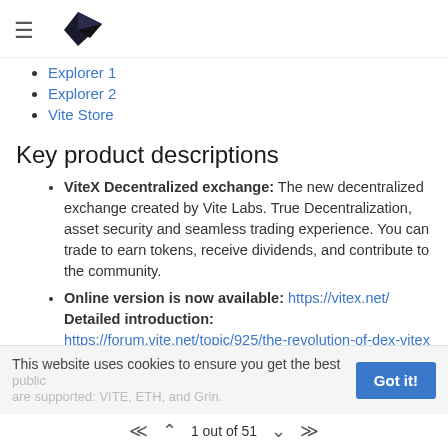Vite Labs navigation header with hamburger menu and logo
Explorer 1
Explorer 2
Vite Store
Key product descriptions
ViteX Decentralized exchange: The new decentralized exchange created by Vite Labs. True Decentralization, asset security and seamless trading experience. You can trade to earn tokens, receive dividends, and contribute to the community.
Online version is now available: https://vitex.net/ Detailed introduction: https://forum.vite.net/topic/925/the-revolution-of-dex-vitex
Vite Wallet: A multi-chain, multi-currency HD wallet
This website uses cookies to ensure you get the best
1 out of 51